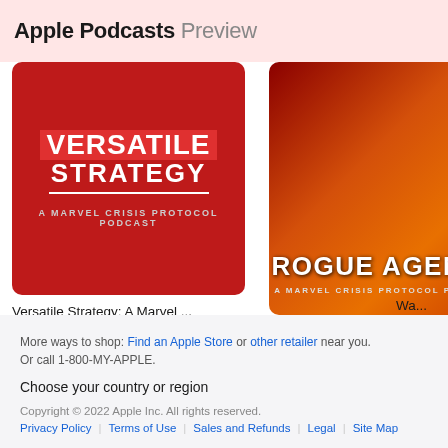Apple Podcasts Preview
[Figure (illustration): Podcast cover art for 'Versatile Strategy: A Marvel Crisis Protocol Podcast' — red background with bold white text]
Versatile Strategy: A Marvel ...
Nick Jolliff
[Figure (illustration): Podcast cover art for 'Rogue Agents A Marvel Crisis Protocol Podcast' — dark with orange/fire background and stylized character]
Rogue Agents A Marvel Crisi...
RogueAgentsPodcast
More ways to shop: Find an Apple Store or other retailer near you. Or call 1-800-MY-APPLE. Choose your country or region Copyright © 2022 Apple Inc. All rights reserved. Privacy Policy | Terms of Use | Sales and Refunds | Legal | Site Map